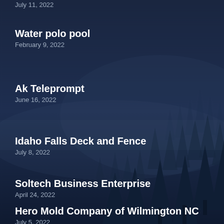July 11, 2022
Water polo pool
February 9, 2022
Ak Teleprompt
June 16, 2022
Idaho Falls Deck and Fence
July 8, 2022
Soltech Business Enterprise
April 24, 2022
Hero Mold Company of Wilmington NC
July 5, 2022